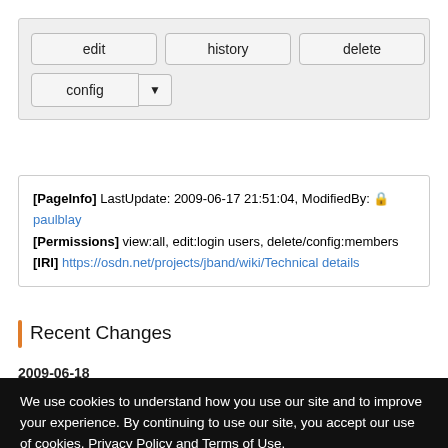[Figure (screenshot): Toolbar with edit, history, delete buttons and config dropdown]
[PageInfo]  LastUpdate: 2009-06-17 21:51:04, ModifiedBy: paulblay
[Permissions]  view:all, edit:login users, delete/config:members
[IRI]  https://osdn.net/projects/jband/wiki/Technical details
Recent Changes
2009-06-18
We use cookies to understand how you use our site and to improve your experience. By continuing to use our site, you accept our use of cookies, Privacy Policy and Terms of Use.